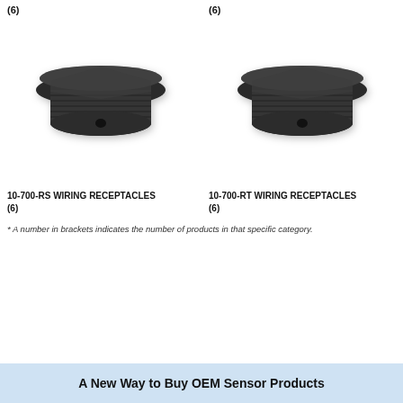(6)
(6)
[Figure (photo): Dark gray threaded wiring receptacle connector, cylindrical with external threads and a small hole on the face — 10-700-RS]
[Figure (photo): Dark gray threaded wiring receptacle connector, cylindrical with external threads and a small hole on the face — 10-700-RT]
10-700-RS WIRING RECEPTACLES (6)
10-700-RT WIRING RECEPTACLES (6)
* A number in brackets indicates the number of products in that specific category.
A New Way to Buy OEM Sensor Products